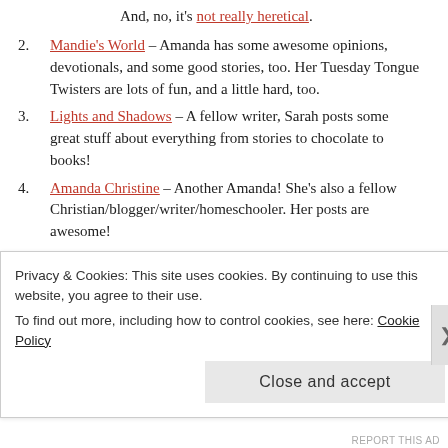And, no, it's not really heretical.
2. Mandie's World – Amanda has some awesome opinions, devotionals, and some good stories, too. Her Tuesday Tongue Twisters are lots of fun, and a little hard, too.
3. Lights and Shadows – A fellow writer, Sarah posts some great stuff about everything from stories to chocolate to books!
4. Amanda Christine – Another Amanda! She's also a fellow Christian/blogger/writer/homeschooler. Her posts are awesome!
5. Sonshine Seeker – Awesome Christian posts! So encouraging and bible-based.
6. Icedmocha34 – Yes, Emmy-girl, I must include you! Emily posts some awesome stuff, some funny, some serious, and all amazing. Her stories are awesome!
Privacy & Cookies: This site uses cookies. By continuing to use this website, you agree to their use. To find out more, including how to control cookies, see here: Cookie Policy
Close and accept
REPORT THIS AD